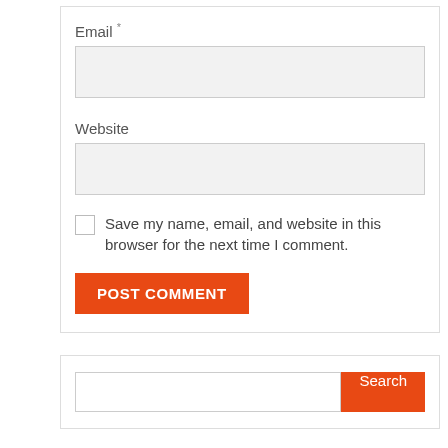Email *
[Figure (screenshot): Email text input field (empty, light gray background)]
Website
[Figure (screenshot): Website text input field (empty, light gray background)]
Save my name, email, and website in this browser for the next time I comment.
POST COMMENT
[Figure (screenshot): Search input field with orange Search button]